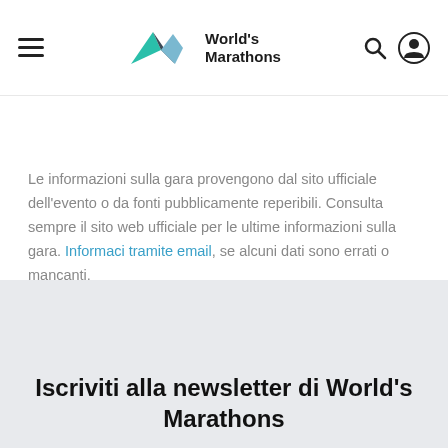[Figure (logo): World's Marathons logo with geometric arrow/mountain shapes in teal, dark gray and light blue, with text 'World's Marathons']
Le informazioni sulla gara provengono dal sito ufficiale dell'evento o da fonti pubblicamente reperibili. Consulta sempre il sito web ufficiale per le ultime informazioni sulla gara. Informaci tramite email, se alcuni dati sono errati o mancanti.
Iscriviti alla newsletter di World's Marathons